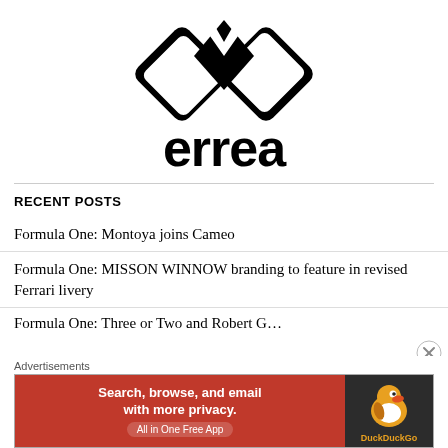[Figure (logo): Errea brand logo: black geometric diamond/arrow shapes forming a stylized double-M symbol above the text 'errea' in bold black lowercase letters]
RECENT POSTS
Formula One: Montoya joins Cameo
Formula One: MISSON WINNOW branding to feature in revised Ferrari livery
Formula One: Three or Two and Robert G...
Advertisements
[Figure (screenshot): DuckDuckGo advertisement banner: orange left panel with text 'Search, browse, and email with more privacy. All in One Free App' and dark right panel with DuckDuckGo duck logo]